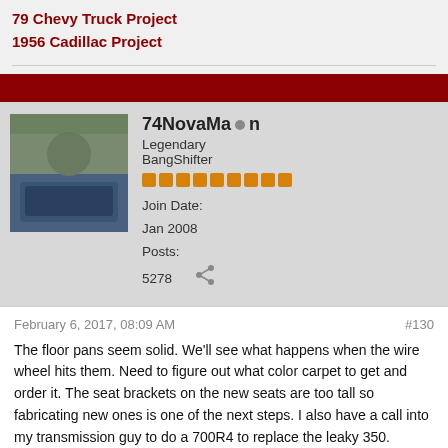79 Chevy Truck Project
1956 Cadillac Project
74NovaMan
Legendary BangShifter
Join Date: Jan 2008
Posts: 5278
February 6, 2017, 08:09 AM   #130
The floor pans seem solid. We'll see what happens when the wire wheel hits them. Need to figure out what color carpet to get and order it. The seat brackets on the new seats are too tall so fabricating new ones is one of the next steps. I also have a call into my transmission guy to do a 700R4 to replace the leaky 350.
Chris - HRPT Long Haul 03, 04, 05, 13, 14, 15,16 & 18
74 Nova Project
66 Mustang GT Project
92 Camaro RS Convertible Project
79 Chevy Truck Project